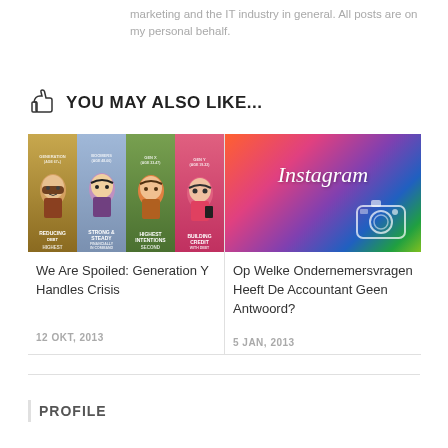marketing and the IT industry in general. All posts are on my personal behalf.
YOU MAY ALSO LIKE...
[Figure (illustration): Illustration of four generational character types with labels including 'Reducing', 'Strong & Steady', 'Highest', 'Building Credit', shown as cartoon avatar panels]
We Are Spoiled: Generation Y Handles Crisis
12 OKT, 2013
[Figure (illustration): Instagram logo on a colorful gradient background with camera icon]
Op Welke Ondernemersvragen Heeft De Accountant Geen Antwoord?
5 JAN, 2013
PROFILE